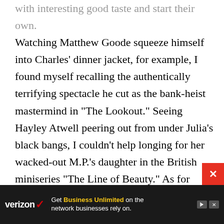with interesting good taste and start their own. Watching Matthew Goode squeeze himself into Charles' dinner jacket, for example, I found myself recalling the authentically terrifying spectacle he cut as the bank-heist mastermind in "The Lookout." Seeing Hayley Atwell peering out from under Julia's black bangs, I couldn't help longing for her wacked-out M.P.'s daughter in the British miniseries "The Line of Beauty." As for Emma Thompson, I'm not sure what possessed her to play the gorgonian zealot Lady Marchmain (the film strips the character of all the charm she has in the book), but I had a whole career's worth of happy Thompson memories to distract me from the mismatch,
[Figure (other): Verizon advertisement banner with text 'Get Business Unlimited on the network businesses rely on.']